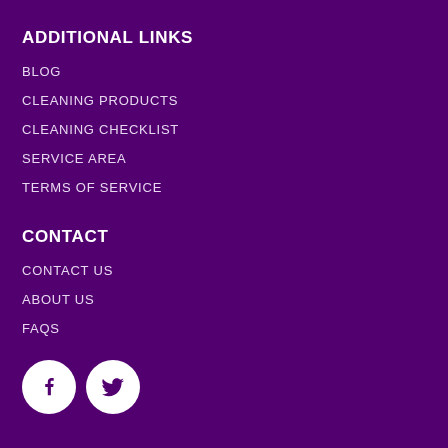ADDITIONAL LINKS
BLOG
CLEANING PRODUCTS
CLEANING CHECKLIST
SERVICE AREA
TERMS OF SERVICE
CONTACT
CONTACT US
ABOUT US
FAQS
[Figure (illustration): Facebook and Twitter social media icons as white circles with dark purple logos]